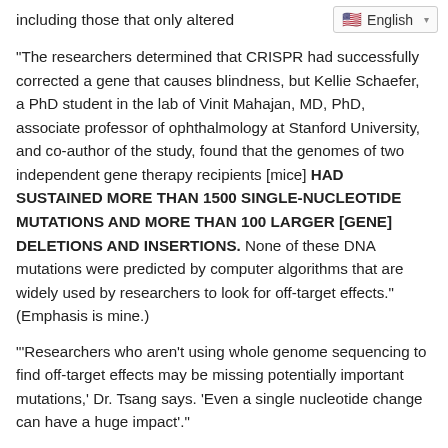including those that only altered
“The researchers determined that CRISPR had successfully corrected a gene that causes blindness, but Kellie Schaefer, a PhD student in the lab of Vinit Mahajan, MD, PhD, associate professor of ophthalmology at Stanford University, and co-author of the study, found that the genomes of two independent gene therapy recipients [mice] HAD SUSTAINED MORE THAN 1500 SINGLE-NUCLEOTIDE MUTATIONS AND MORE THAN 100 LARGER [GENE] DELETIONS AND INSERTIONS. None of these DNA mutations were predicted by computer algorithms that are widely used by researchers to look for off-target effects.” (Emphasis is mine.)
“‘Researchers who aren’t using whole genome sequencing to find off-target effects may be missing potentially important mutations,’ Dr. Tsang says. ‘Even a single nucleotide change can have a huge impact’.”
Genetic roulette is alive and well.
Spin the wheel, see what numbers come up. Good effects, bad effects, who knows? Step right up and take